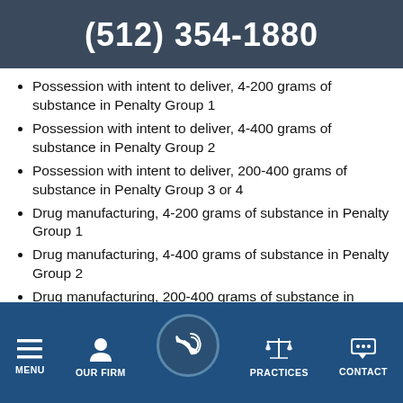(512) 354-1880
Possession with intent to deliver, 4-200 grams of substance in Penalty Group 1
Possession with intent to deliver, 4-400 grams of substance in Penalty Group 2
Possession with intent to deliver, 200-400 grams of substance in Penalty Group 3 or 4
Drug manufacturing, 4-200 grams of substance in Penalty Group 1
Drug manufacturing, 4-400 grams of substance in Penalty Group 2
Drug manufacturing, 200-400 grams of substance in Penalty Group 3 or 4
Drug trafficking, 4-200 grams of substance in
MENU  OUR FIRM  PRACTICES  CONTACT